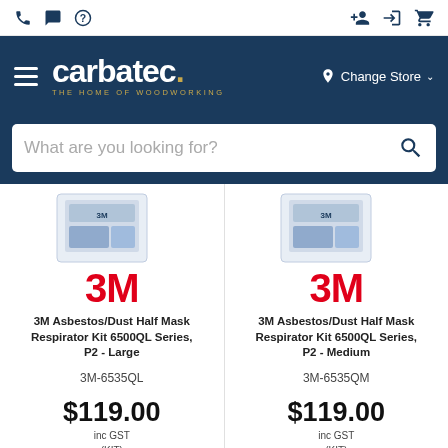Carbatec - The Home of Woodworking
What are you looking for?
[Figure (photo): 3M product packaging image for Half Mask Respirator - left product]
3M
3M Asbestos/Dust Half Mask Respirator Kit 6500QL Series, P2 - Large
3M-6535QL
$119.00 inc GST (KIT)
[Figure (photo): 3M product packaging image for Half Mask Respirator - right product]
3M
3M Asbestos/Dust Half Mask Respirator Kit 6500QL Series, P2 - Medium
3M-6535QM
$119.00 inc GST (KIT)